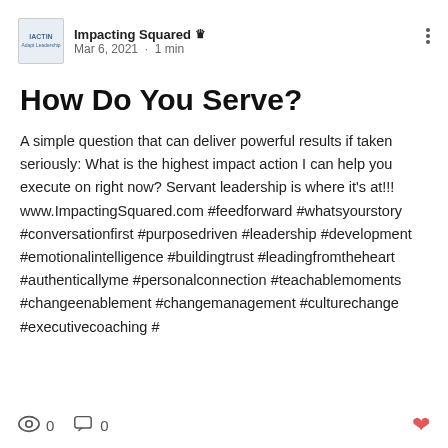Impacting Squared | Mar 6, 2021 · 1 min
How Do You Serve?
A simple question that can deliver powerful results if taken seriously: What is the highest impact action I can help you execute on right now? Servant leadership is where it's at!!! www.ImpactingSquared.com #feedforward #whatsyourstory #conversationfirst #purposedriven #leadership #development #emotionalintelligence #buildingtrust #leadingfromtheheart #authenticallyme #personalconnection #teachablemoments #changeenablement #changemanagement #culturechange #executivecoaching #
0 views · 0 comments · heart